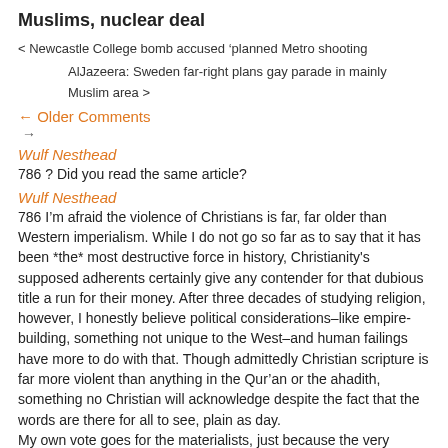Muslims, nuclear deal
< Newcastle College bomb accused 'planned Metro shooting
AlJazeera: Sweden far-right plans gay parade in mainly Muslim area >
← Older Comments
→
Wulf Nesthead
786 ? Did you read the same article?
Wulf Nesthead
786 I'm afraid the violence of Christians is far, far older than Western imperialism. While I do not go so far as to say that it has been *the* most destructive force in history, Christianity's supposed adherents certainly give any contender for that dubious title a run for their money. After three decades of studying religion, however, I honestly believe political considerations–like empire-building, something not unique to the West–and human failings have more to do with that. Though admittedly Christian scripture is far more violent than anything in the Qur'an or the ahadith, something no Christian will acknowledge despite the fact that the words are there for all to see, plain as day.
My own vote goes for the materialists, just because the very nature of their ideology admits of no compromise, even. The victims of